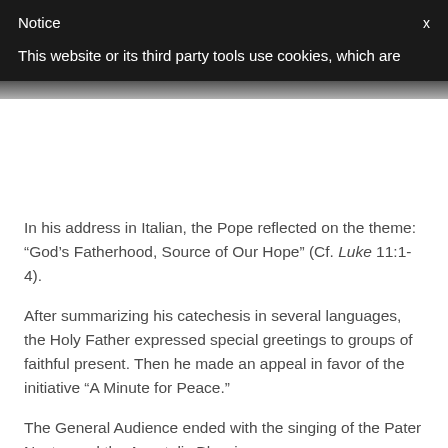Notice
x
This website or its third party tools use cookies, which are
In his address in Italian, the Pope reflected on the theme: “God’s Fatherhood, Source of Our Hope” (Cf. Luke 11:1-4).
After summarizing his catechesis in several languages, the Holy Father expressed special greetings to groups of faithful present. Then he made an appeal in favor of the initiative “A Minute for Peace.”
The General Audience ended with the singing of the Pater Noster and the Apostolic Blessing.